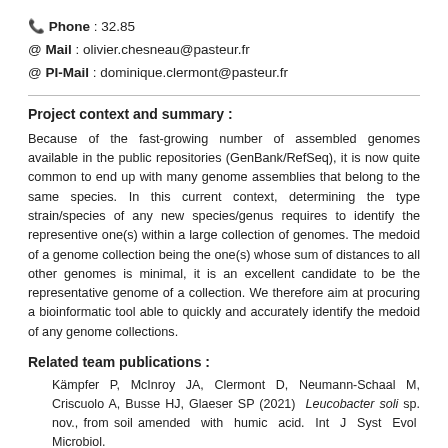📞 Phone : 32.85
@ Mail : olivier.chesneau@pasteur.fr
@ PI-Mail : dominique.clermont@pasteur.fr
Project context and summary :
Because of the fast-growing number of assembled genomes available in the public repositories (GenBank/RefSeq), it is now quite common to end up with many genome assemblies that belong to the same species. In this current context, determining the type strain/species of any new species/genus requires to identify the representive one(s) within a large collection of genomes. The medoid of a genome collection being the one(s) whose sum of distances to all other genomes is minimal, it is an excellent candidate to be the representative genome of a collection. We therefore aim at procuring a bioinformatic tool able to quickly and accurately identify the medoid of any genome collections.
Related team publications :
Kämpfer P, McInroy JA, Clermont D, Neumann-Schaal M, Criscuolo A, Busse HJ, Glaeser SP (2021) Leucobacter soli sp. nov., from soil amended with humic acid. Int J Syst Evol Microbiol.